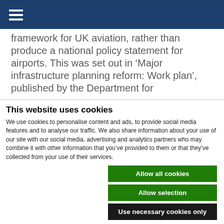[hamburger menu icon] navigation header
framework for UK aviation, rather than produce a national policy statement for airports. This was set out in 'Major infrastructure planning reform: Work plan', published by the Department for
This website uses cookies
We use cookies to personalise content and ads, to provide social media features and to analyse our traffic. We also share information about your use of our site with our social media, advertising and analytics partners who may combine it with other information that you've provided to them or that they've collected from your use of their services.
Allow all cookies
Allow selection
Use necessary cookies only
Necessary  Preferences  Statistics  Marketing  Show details